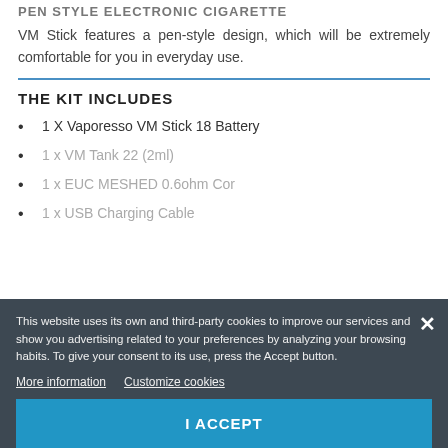PEN STYLE ELECTRONIC CIGARETTE
VM Stick features a pen-style design, which will be extremely comfortable for you in everyday use.
THE KIT INCLUDES
1 X Vaporesso VM Stick 18 Battery
1 x VM Tank 22 (2ml)
1 x EUC MESHED 0.6ohm Cor
1 x USB Charging Cable
This website uses its own and third-party cookies to improve our services and show you advertising related to your preferences by analyzing your browsing habits. To give your consent to its use, press the Accept button.
More information   Customize cookies
I ACCEPT